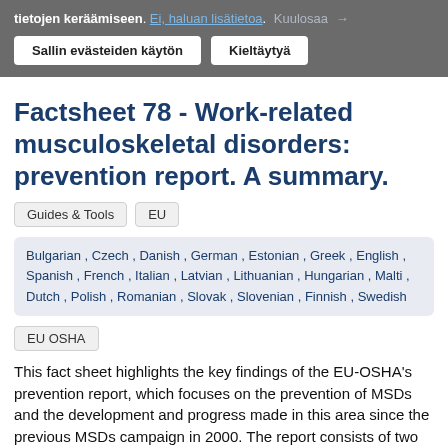tietojen keräämiseen. Ei, haluan lisätietoa. Kuulosaa →
Sallin evästeiden käytön   Kieltäytyä
Factsheet 78 - Work-related musculoskeletal disorders: prevention report. A summary.
Guides & Tools
EU
Bulgarian , Czech , Danish , German , Estonian , Greek , English , Spanish , French , Italian , Latvian , Lithuanian , Hungarian , Malti , Dutch , Polish , Romanian , Slovak , Slovenian , Finnish , Swedish
EU OSHA
This fact sheet highlights the key findings of the EU-OSHA's prevention report, which focuses on the prevention of MSDs and the development and progress made in this area since the previous MSDs campaign in 2000. The report consists of two parts: a state-of-the-art review of the research